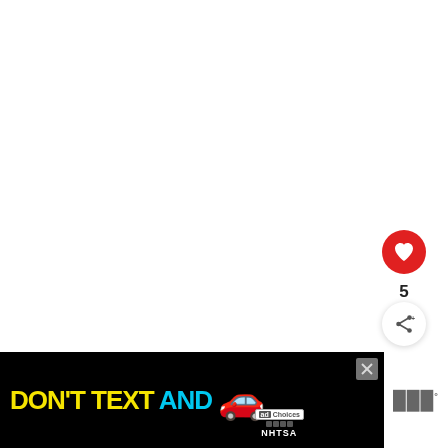[Figure (screenshot): White blank main content area of a web article page]
[Figure (infographic): Like button (red circle with heart icon), count of 5, and share button (white circle with share icon) floating on right side]
5
[Figure (infographic): What's Next panel with thumbnail and text: 'WHAT'S NEXT → This Is The Harsh Realit...']
[Figure (screenshot): Advertisement banner: DON'T TEXT AND [car emoji] with ad badge and NHTSA branding on black background]
[Figure (logo): Teads logo (three vertical bars with degree symbol) on white background]